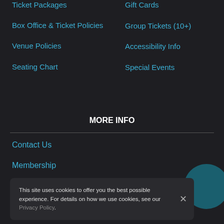Ticket Packages
Box Office & Ticket Policies
Venue Policies
Seating Chart
Gift Cards
Group Tickets (10+)
Accessibility Info
Special Events
MORE INFO
Contact Us
Membership
This site uses cookies to offer you the best possible experience. For details on how we use cookies, see our Privacy Policy.